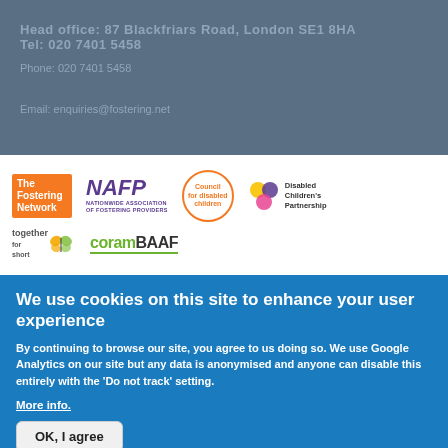Head office: [address text] Phone: [phone] Email: [email]
[Figure (logo): The Fostering Network logo (orange background, white text)]
[Figure (logo): NAFP - Nationwide Association of Fostering Providers logo (purple text)]
[Figure (logo): Council for disabled children logo (orange circle)]
[Figure (logo): Disabled Children's Partnership logo with colourful circles]
[Figure (logo): together for short logo with butterfly]
[Figure (logo): coramBAAF logo in green and black]
We use cookies on this site to enhance your user experience
By continuing to browse our site, you agree to us doing so. We use Google Analytics on our site but any data is anonymised and anyone can disable this entirely with the 'Do not track' setting.
More info.
OK, I agree